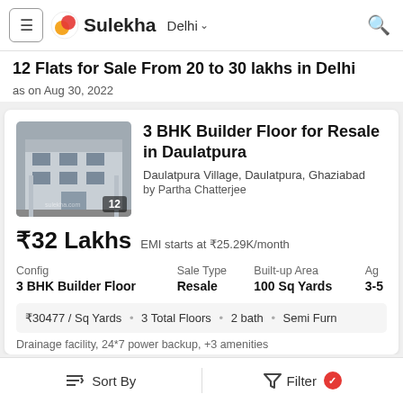Sulekha | Delhi
12 Flats for Sale From 20 to 30 lakhs in Delhi
as on Aug 30, 2022
3 BHK Builder Floor for Resale in Daulatpura
Daulatpura Village, Daulatpura, Ghaziabad
by Partha Chatterjee
₹32 Lakhs   EMI starts at ₹25.29K/month
| Config | Sale Type | Built-up Area | Ag |
| --- | --- | --- | --- |
| 3 BHK Builder Floor | Resale | 100 Sq Yards | 3-5 |
₹30477 / Sq Yards  •  3 Total Floors  •  2 bath  •  Semi Furn
Drainage facility, 24*7 power backup, +3 amenities
Sort By    Filter